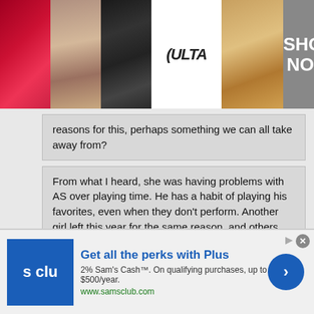[Figure (illustration): Top banner advertisement for Ulta Beauty showing makeup photos (lips, brush, eye with dark makeup), Ulta Beauty logo, model eyes, and SHOP NOW button]
reasons for this, perhaps something we can all take away from?
From what I heard, she was having problems with AS over playing time. He has a habit of playing his favorites, even when they don't perform. Another girl left this year for the same reason, and others almost did too. She is a great kid.
Nope, she played almost every minute. So try again. The kid that left this year was a starter and fell down the totem pole due to weak play.
[Figure (illustration): Bottom banner advertisement for Sam's Club Plus membership showing blue S Club logo, headline 'Get all the perks with Plus', subtext about 2% Sam's Cash and qualifying purchases up to $500/year, samsclub.com URL, and a blue arrow button]